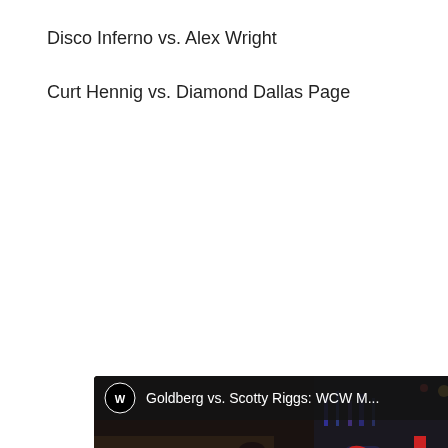Disco Inferno vs. Alex Wright
Curt Hennig vs. Diamond Dallas Page
[Figure (screenshot): YouTube video thumbnail showing a WWE/WCW wrestling match. Title bar reads 'Goldberg vs. Scotty Riggs: WCW M...' with WWE logo. A wrestler is lifting another above his head in a wrestling arena with a crowd visible. A red YouTube play button is overlaid in the center.]